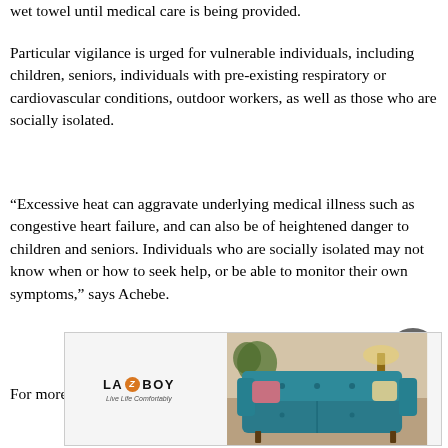wet towel until medical care is being provided.
Particular vigilance is urged for vulnerable individuals, including children, seniors, individuals with pre-existing respiratory or cardiovascular conditions, outdoor workers, as well as those who are socially isolated.
“Excessive heat can aggravate underlying medical illness such as congestive heart failure, and can also be of heightened danger to children and seniors. Individuals who are socially isolated may not know when or how to seek help, or be able to monitor their own symptoms,” says Achebe.
For more information and advice, including as specific to
[Figure (other): La-Z-Boy advertisement banner showing a teal tufted sofa with decorative pillows and living room furniture in the background. Logo reads LA-Z-BOY with tagline 'Live Life Comfortably'.]